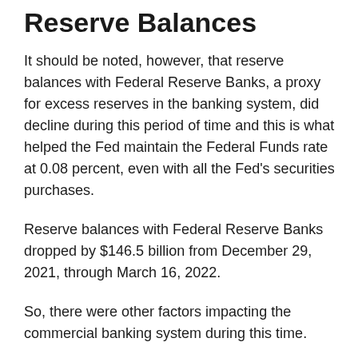Reserve Balances
It should be noted, however, that reserve balances with Federal Reserve Banks, a proxy for excess reserves in the banking system, did decline during this period of time and this is what helped the Fed maintain the Federal Funds rate at 0.08 percent, even with all the Fed's securities purchases.
Reserve balances with Federal Reserve Banks dropped by $146.5 billion from December 29, 2021, through March 16, 2022.
So, there were other factors impacting the commercial banking system during this time.
Most importantly, the federal government